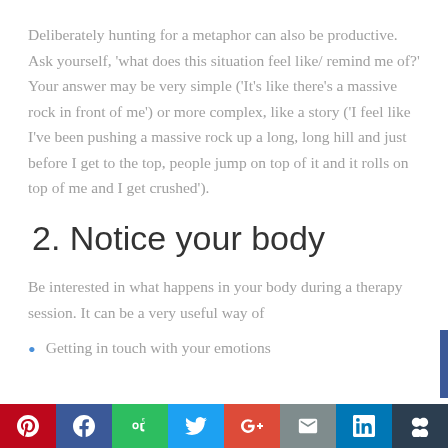Deliberately hunting for a metaphor can also be productive. Ask yourself, 'what does this situation feel like/ remind me of?' Your answer may be very simple ('It's like there's a massive rock in front of me') or more complex, like a story ('I feel like I've been pushing a massive rock up a long, long hill and just before I get to the top, people jump on top of it and it rolls on top of me and I get crushed').
2. Notice your body
Be interested in what happens in your body during a therapy session. It can be a very useful way of
Getting in touch with your emotions